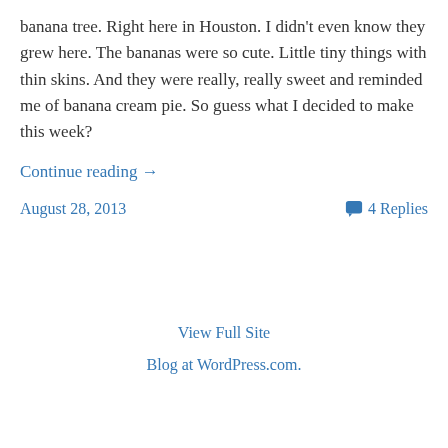banana tree. Right here in Houston. I didn't even know they grew here. The bananas were so cute. Little tiny things with thin skins. And they were really, really sweet and reminded me of banana cream pie. So guess what I decided to make this week?
Continue reading →
August 28, 2013
4 Replies
View Full Site
Blog at WordPress.com.